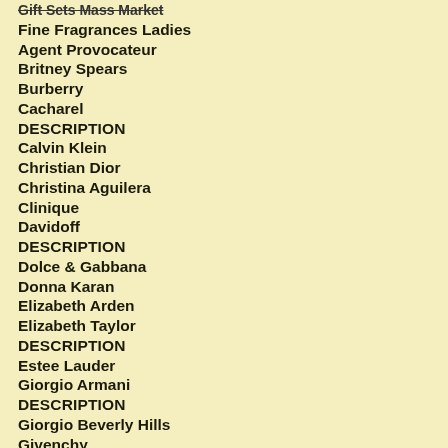Gift Sets Mass Market
Fine Fragrances Ladies
Agent Provocateur
Britney Spears
Burberry
Cacharel
DESCRIPTION
Calvin Klein
Christian Dior
Christina Aguilera
Clinique
Davidoff
DESCRIPTION
Dolce & Gabbana
Donna Karan
Elizabeth Arden
Elizabeth Taylor
DESCRIPTION
Estee Lauder
Giorgio Armani
DESCRIPTION
Giorgio Beverly Hills
Givenchy
Guerlain
Hilary Duff
Hugo Boss
Issey Miyake
Jean Paul Gaultier
DESCRIPTION
Kate Moss
Kylie Minogue